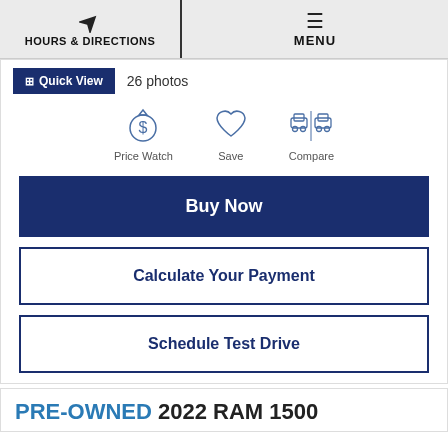HOURS & DIRECTIONS | MENU
Quick View  26 photos
[Figure (illustration): Three icons: Price Watch (dollar sign), Save (heart), Compare (car comparison)]
Buy Now
Calculate Your Payment
Schedule Test Drive
PRE-OWNED 2022 RAM 1500